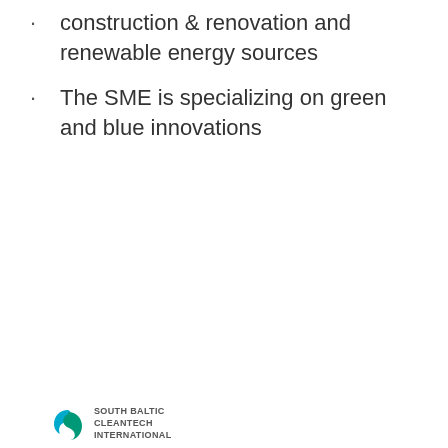construction & renovation and renewable energy sources
The SME is specializing on green and blue innovations
[Figure (logo): South Baltic Cleantech International logo with teal/blue swirl icon and text]